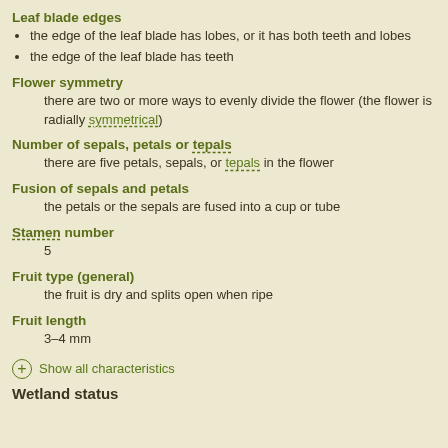Leaf blade edges
the edge of the leaf blade has lobes, or it has both teeth and lobes
the edge of the leaf blade has teeth
Flower symmetry
there are two or more ways to evenly divide the flower (the flower is radially symmetrical)
Number of sepals, petals or tepals
there are five petals, sepals, or tepals in the flower
Fusion of sepals and petals
the petals or the sepals are fused into a cup or tube
Stamen number
5
Fruit type (general)
the fruit is dry and splits open when ripe
Fruit length
3–4 mm
Show all characteristics
Wetland status